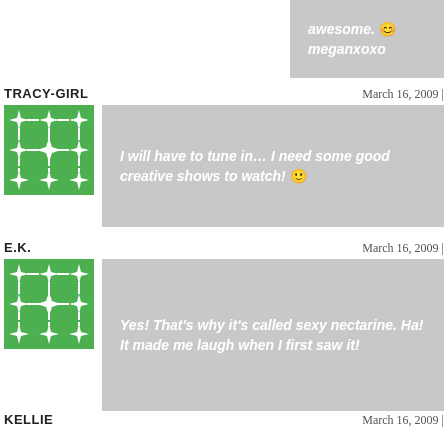awesome. 😊 meganxoxo
TRACY-GIRL
March 16, 2009 |
[Figure (illustration): Green and white geometric avatar pattern for TRACY-GIRL]
I will have to tune in… I need some good creative shows to watch! 🙂
E.K.
March 16, 2009 |
[Figure (illustration): Green and white geometric avatar pattern for E.K.]
Yes! That's why it's called sexy nectarine. Ha! It made me laugh when I first saw it!
KELLIE
March 16, 2009 |